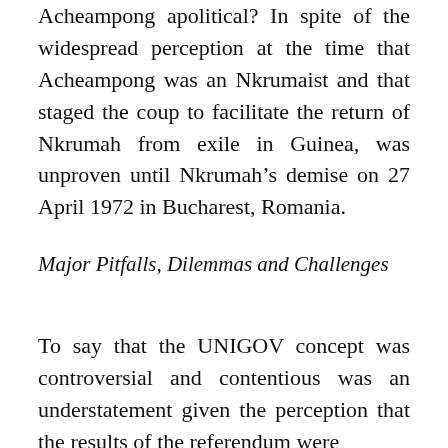Acheampong apolitical? In spite of the widespread perception at the time that Acheampong was an Nkrumaist and that staged the coup to facilitate the return of Nkrumah from exile in Guinea, was unproven until Nkrumah's demise on 27 April 1972 in Bucharest, Romania.
Major Pitfalls, Dilemmas and Challenges
To say that the UNIGOV concept was controversial and contentious was an understatement given the perception that the results of the referendum were